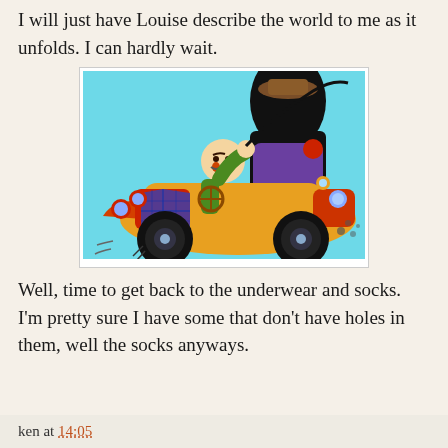I will just have Louise describe the world to me as it unfolds. I can hardly wait.
[Figure (illustration): Cartoon illustration of a bald man in a green jacket driving an old-fashioned red and yellow car at speed, with a large black silhouette figure in the backseat wearing a brown hat. The car has large round headlights and the background is light blue.]
Well, time to get back to the underwear and socks. I’m pretty sure I have some that don’t have holes in them, well the socks anyways.
ken at 14:05